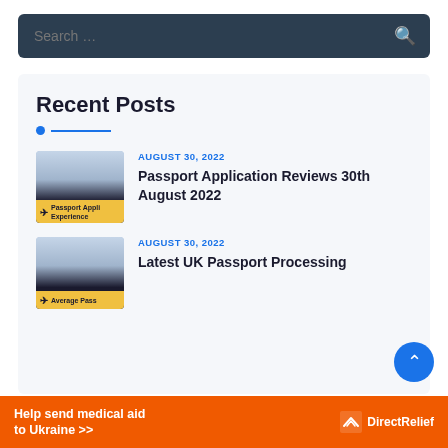[Figure (screenshot): Search bar with dark navy background and search icon]
Recent Posts
AUGUST 30, 2022 — Passport Application Reviews 30th August 2022
AUGUST 30, 2022 — Latest UK Passport Processing
[Figure (infographic): Orange advertisement banner: Help send medical aid to Ukraine >> Direct Relief logo]